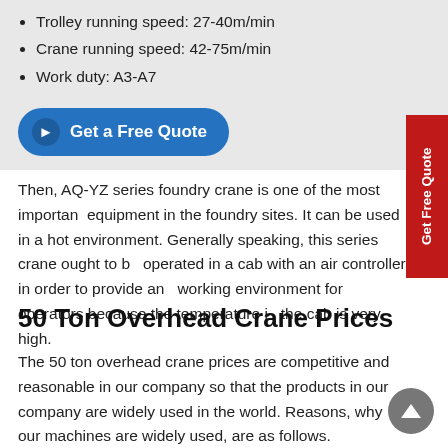Trolley running speed: 27-40m/min
Crane running speed: 42-75m/min
Work duty: A3-A7
[Figure (other): Blue rounded button labeled 'Get a Free Quote' with a circle arrow icon]
Then, AQ-YZ series foundry crane is one of the most important equipment in the foundry sites. It can be used in a hot environment. Generally speaking, this series crane ought to be operated in a cab with an air controller in order to provide an easy working environment for operators because the temperature in the cab is very high.
50 Ton Overhead Crane Prices
The 50 ton overhead crane prices are competitive and reasonable in our company so that the products in our company are widely used in the world. Reasons, why our machines are widely used, are as follows.